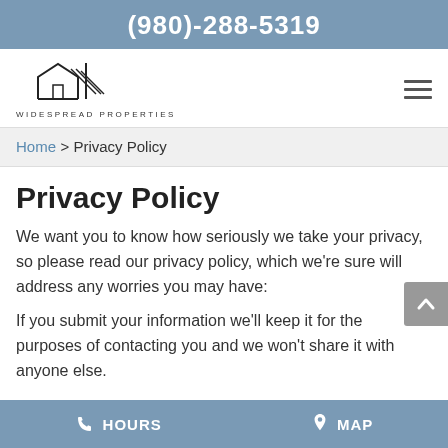(980)-288-5319
[Figure (logo): Widespread Properties logo with house/building line art and company name text]
Home > Privacy Policy
Privacy Policy
We want you to know how seriously we take your privacy, so please read our privacy policy, which we're sure will address any worries you may have:
If you submit your information we'll keep it for the purposes of contacting you and we won't share it with anyone else.
HOURS   MAP